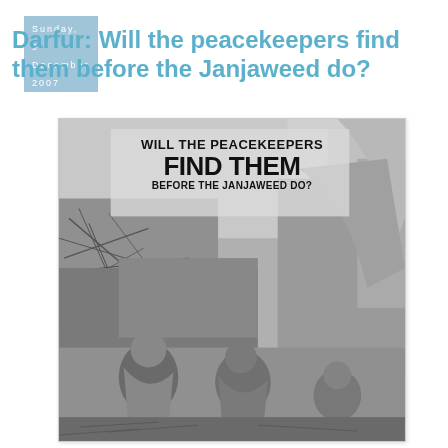Sunday, 9 December 2007
Darfur: Will the peacekeepers find them before the Janjaweed do?
[Figure (photo): Black and white photograph showing Darfur refugees, including children wrapped in cloth, sitting near makeshift shelters with text overlay reading 'WILL THE PEACEKEEPERS FIND THEM BEFORE THE JANJAWEED DO?']